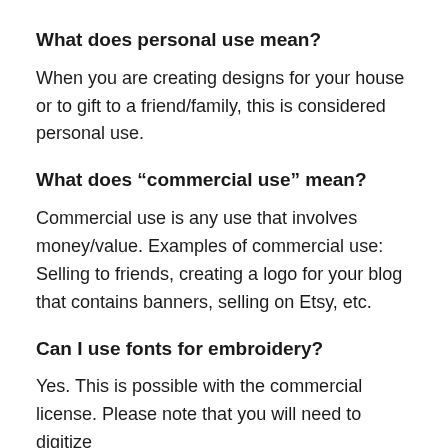What does personal use mean?
When you are creating designs for your house or to gift to a friend/family, this is considered personal use.
What does “commercial use” mean?
Commercial use is any use that involves money/value. Examples of commercial use: Selling to friends, creating a logo for your blog that contains banners, selling on Etsy, etc.
Can I use fonts for embroidery?
Yes. This is possible with the commercial license. Please note that you will need to digitize